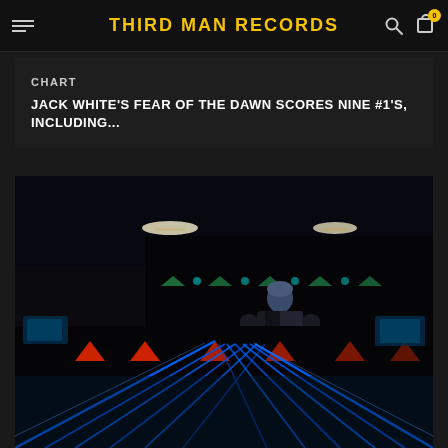THIRD MAN RECORDS
CHART
JACK WHITE'S FEAR OF THE DAWN SCORES NINE #1'S, INCLUDING...
[Figure (photo): Person in black leather jacket standing in a bowling alley with neon blue lane lights, red triangle pins visible in the background, dark atmospheric scene]